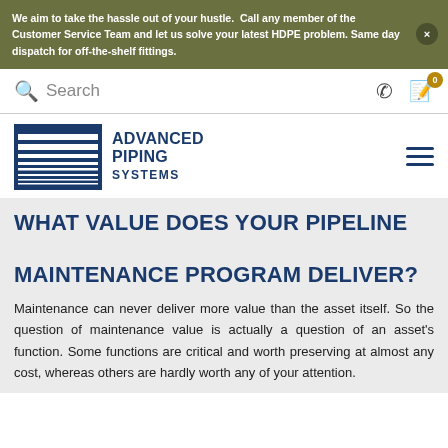We aim to take the hassle out of your hustle. Call any member of the Customer Service Team and let us solve your latest HDPE problem. Same day dispatch for off-the-shelf fittings.
[Figure (logo): Advanced Piping Systems logo with blue rectangular graphic and blue text]
WHAT VALUE DOES YOUR PIPELINE MAINTENANCE PROGRAM DELIVER?
Maintenance can never deliver more value than the asset itself. So the question of maintenance value is actually a question of an asset's function. Some functions are critical and worth preserving at almost any cost, whereas others are hardly worth any of your attention.